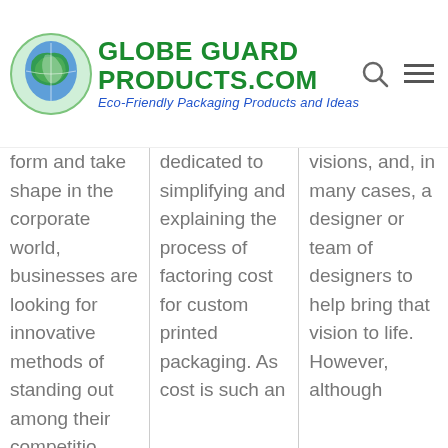Globe Guard Products.com — Eco-Friendly Packaging Products and Ideas
form and take shape in the corporate world, businesses are looking for innovative methods of standing out among their competitio
dedicated to simplifying and explaining the process of factoring cost for custom printed packaging. As cost is such an
visions, and, in many cases, a designer or team of designers to help bring that vision to life. However, although